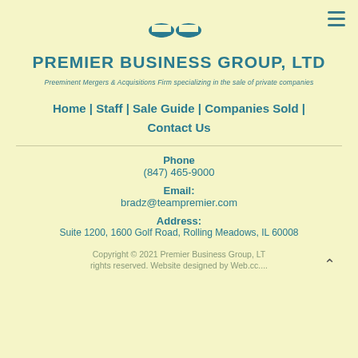[Figure (logo): Premier Business Group, LTD logo with two bowl/arc shapes in teal above the company name]
PREMIER BUSINESS GROUP, LTD
Preeminent Mergers & Acquisitions Firm specializing in the sale of private companies
Home | Staff | Sale Guide | Companies Sold | Contact Us
Phone
(847) 465-9000
Email:
bradz@teampremier.com
Address:
Suite 1200, 1600 Golf Road, Rolling Meadows, IL 60008
Copyright © 2021 Premier Business Group, LT rights reserved. Website designed by Web.cc....